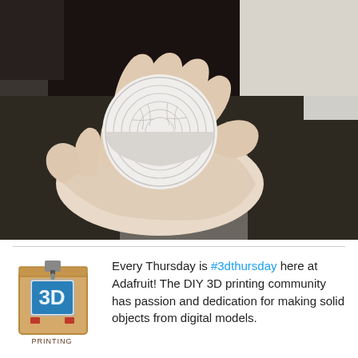[Figure (photo): Close-up photo of two hands holding a small white 3D-printed circular object with concentric ring texture and cracked surface. Background shows dark clothing and a round black object.]
[Figure (illustration): Cartoon illustration of a cardboard box 3D printer with a blue display reading '3D' and the word 'PRINTING' at the bottom.]
Every Thursday is #3dthursday here at Adafruit! The DIY 3D printing community has passion and dedication for making solid objects from digital models.